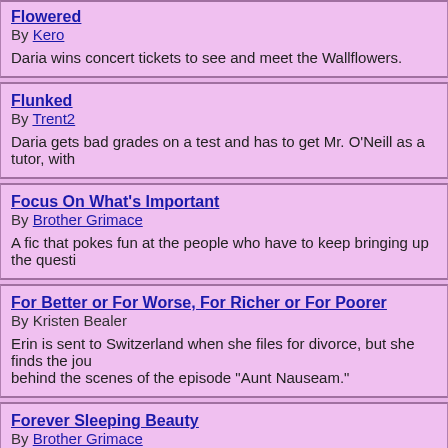Flowered
By Kero
Daria wins concert tickets to see and meet the Wallflowers.
Flunked
By Trent2
Daria gets bad grades on a test and has to get Mr. O'Neill as a tutor, with
Focus On What's Important
By Brother Grimace
A fic that pokes fun at the people who have to keep bringing up the questi
For Better or For Worse, For Richer or For Poorer
By Kristen Bealer
Erin is sent to Switzerland when she files for divorce, but she finds the jou behind the scenes of the episode "Aunt Nauseam."
Forever Sleeping Beauty
By Brother Grimace
From an Iron Chef by Angelinhel, Stacy Rowe wakes up one morning, and